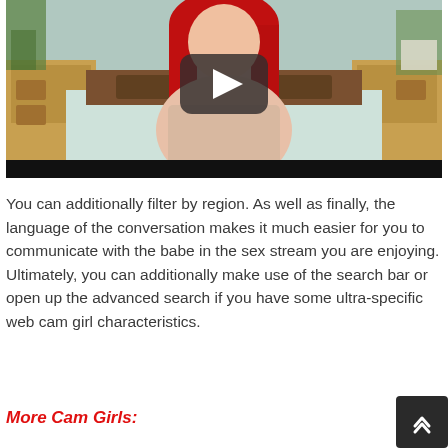[Figure (photo): Video thumbnail showing a woman with red hair in a bedroom setting, with a dark play button overlay in the center and a black bar at the bottom.]
You can additionally filter by region. As well as finally, the language of the conversation makes it much easier for you to communicate with the babe in the sex stream you are enjoying. Ultimately, you can additionally make use of the search bar or open up the advanced search if you have some ultra-specific web cam girl characteristics.
More Cam Girls: